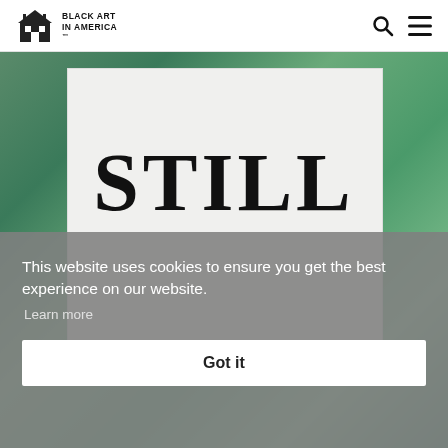BLACK ART IN AMERICA™ [logo with house icon, search icon, menu icon]
[Figure (photo): Book cover showing the word STILL in large serif letters on a white background, surrounded by green textured background]
This website uses cookies to ensure you get the best experience on our website.
Learn more
Got it